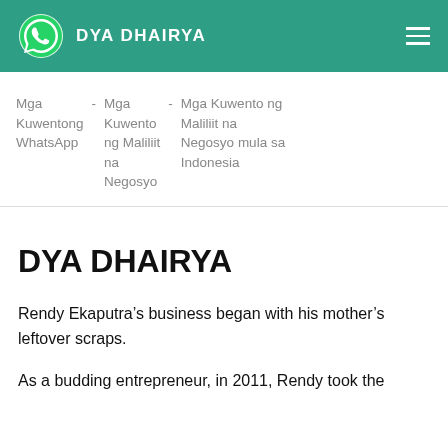DYA DHAIRYA
Mga Kuwentong WhatsApp - Mga Kuwento ng Maliliit na Negosyo - Mga Kuwento ng Maliliit na Negosyo mula sa Indonesia
DYA DHAIRYA
Rendy Ekaputra’s business began with his mother’s leftover scraps.
As a budding entrepreneur, in 2011, Rendy took the